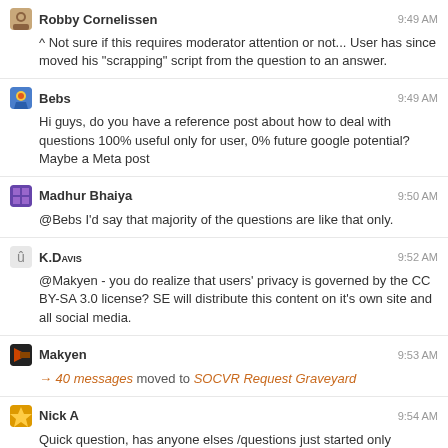Robby Cornelissen 9:49 AM ^ Not sure if this requires moderator attention or not... User has since moved his "scrapping" script from the question to an answer.
Bebs 9:49 AM Hi guys, do you have a reference post about how to deal with questions 100% useful only for user, 0% future google potential? Maybe a Meta post
Madhur Bhaiya 9:50 AM @Bebs I'd say that majority of the questions are like that only.
K.Davis 9:52 AM @Makyen - you do realize that users' privacy is governed by the CC BY-SA 3.0 license? SE will distribute this content on it's own site and all social media.
Makyen 9:53 AM → 40 messages moved to SOCVR Request Graveyard
Nick A 9:54 AM Quick question, has anyone elses /questions just started only showing 1 question?
Makyen 9:55 AM @K.Davis That is, in part, true and, in part, not true, as we're also talking about flags and/or other private communication with moderators, which are all considered private information.
K.Davis 9:55 AM